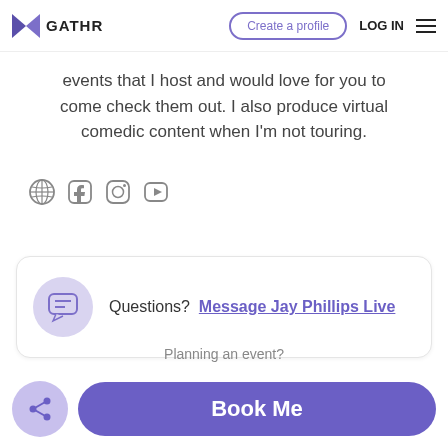GATHR — Create a profile | LOG IN
events that I host and would love for you to come check them out. I also produce virtual comedic content when I'm not touring.
[Figure (other): Social media icons: globe, Facebook, Instagram, YouTube]
Questions?  Message Jay Phillips Live
Planning an event?
Book Me